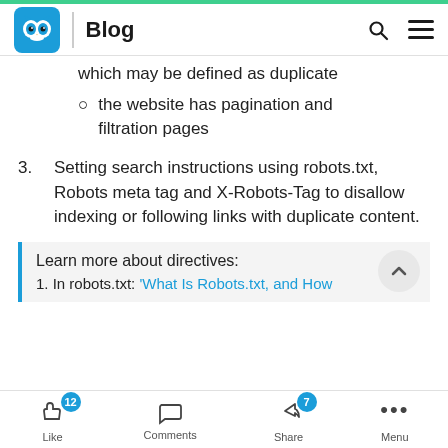Blog
which may be defined as duplicate
the website has pagination and filtration pages
3. Setting search instructions using robots.txt, Robots meta tag and X-Robots-Tag to disallow indexing or following links with duplicate content.
Learn more about directives:
1. In robots.txt: 'What Is Robots.txt, and How
Like 12  Comments  Share 7  Menu